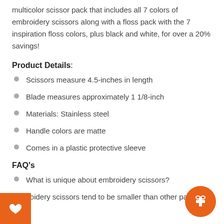multicolor scissor pack that includes all 7 colors of embroidery scissors along with a floss pack with the 7 inspiration floss colors, plus black and white, for over a 20% savings!
Product Details:
Scissors measure 4.5-inches in length
Blade measures approximately 1 1/8-inch
Materials: Stainless steel
Handle colors are matte
Comes in a plastic protective sleeve
FAQ's
What is unique about embroidery scissors?
Embroidery scissors tend to be smaller than other pairs of